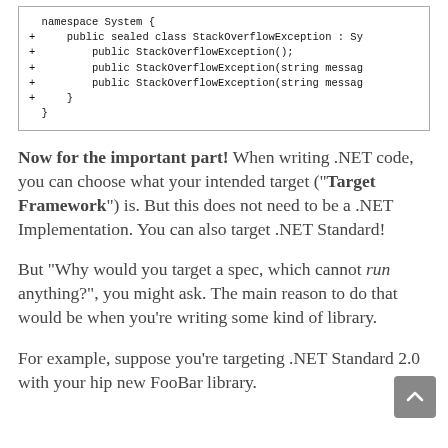[Figure (screenshot): Code block showing a C# namespace System with a StackOverflowException class definition containing constructors, with lines marked by '+' indicating additions.]
Now for the important part! When writing .NET code, you can choose what your intended target (“Target Framework”) is. But this does not need to be a .NET Implementation. You can also target .NET Standard!
But “Why would you target a spec, which cannot run anything?”, you might ask. The main reason to do that would be when you’re writing some kind of library.
For example, suppose you’re targeting .NET Standard 2.0 with your hip new FooBar library.